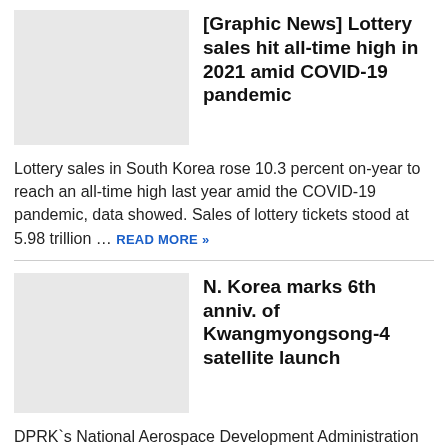[Figure (photo): Thumbnail placeholder image for lottery article]
[Graphic News] Lottery sales hit all-time high in 2021 amid COVID-19 pandemic
Lottery sales in South Korea rose 10.3 percent on-year to reach an all-time high last year amid the COVID-19 pandemic, data showed. Sales of lottery tickets stood at 5.98 trillion … READ MORE »
[Figure (photo): Thumbnail placeholder image for N. Korea satellite article]
N. Korea marks 6th anniv. of Kwangmyongsong-4 satellite launch
DPRK`s National Aerospace Development Administration (NADA)North Korea on Monday celebrated the sixth anniversary of what it claims to be a major satellite launch, its state media said,